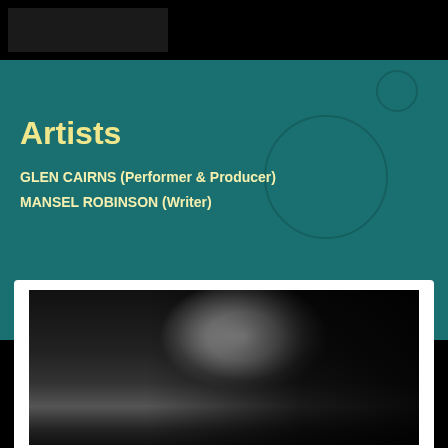Artists
GLEN CAIRNS (Performer & Producer)
MANSEL ROBINSON (Writer)
[Figure (photo): Black and white portrait photograph of a man with grey hair, looking slightly to the side, dramatic lighting with dark background.]